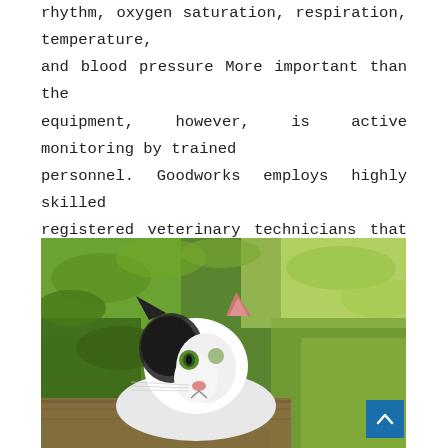rhythm, oxygen saturation, respiration, temperature, and blood pressure More important than the equipment, however, is active monitoring by trained personnel. Goodworks employs highly skilled registered veterinary technicians that will ensure all surgical patients are closely monitored and given intensive care through anesthesia and the recovery phase.
[Figure (photo): A black and white cat lying on a wooden surface outdoors, looking at the camera, with green garden foliage in the background.]